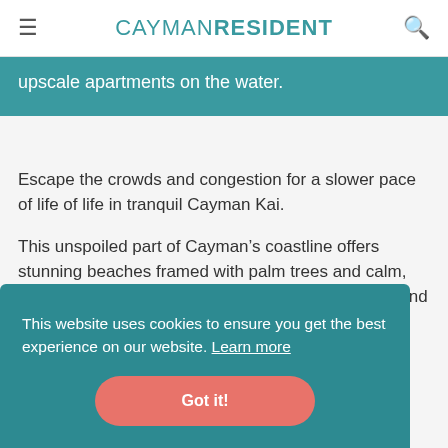CAYMANRESIDENT
upscale apartments on the water.
Escape the crowds and congestion for a slower pace of life of life in tranquil Cayman Kai.
This unspoiled part of Cayman’s coastline offers stunning beaches framed with palm trees and calm, shallow waters. It’s a wonderful spot for swimming and
This website uses cookies to ensure you get the best experience on our website. Learn more
Got it!